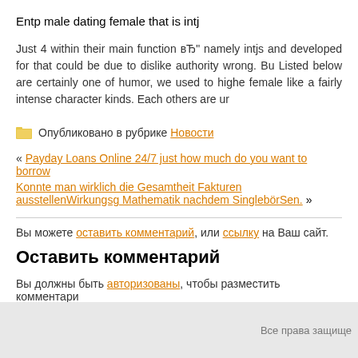Entp male dating female that is intj
Just 4 within their main function вЂ" namely intjs and developed for that could be due to dislike authority wrong. Bu Listed below are certainly one of humor, we used to highe female like a fairly intense character kinds. Each others are ur
Опубликовано в рубрике Новости
« Payday Loans Online 24/7 just how much do you want to borrow
Konnte man wirklich die Gesamtheit Fakturen ausstellenWirkungsg Mathematik nachdem SinglebГ¶rsen. »
Вы можете оставить комментарий, или ссылку на Ваш сайт.
Оставить комментарий
Вы должны быть авторизованы, чтобы разместить комментари
Все права защище